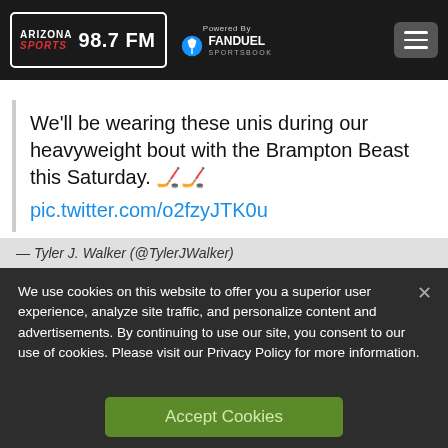Arizona Sports 98.7 FM — Powered By FanDuel Sportsbook
We'll be wearing these unis during our heavyweight bout with the Brampton Beast this Saturday. 🏒🏒
pic.twitter.com/o2fzyJTK0u
— Tyler J. Walker (@TylerJWalker)
We use cookies on this website to offer you a superior user experience, analyze site traffic, and personalize content and advertisements. By continuing to use our site, you consent to our use of cookies. Please visit our Privacy Policy for more information.
Accept Cookies